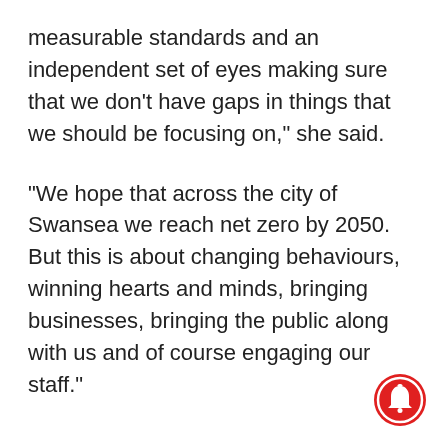measurable standards and an independent set of eyes making sure that we don’t have gaps in things that we should be focusing on,” she said.
“We hope that across the city of Swansea we reach net zero by 2050. But this is about changing behaviours, winning hearts and minds, bringing businesses, bringing the public along with us and of course engaging our staff.”
[Figure (other): Red circular notification bell button icon in the bottom-right corner]